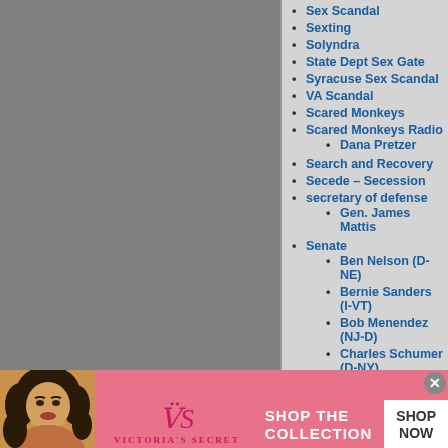[Figure (other): Gray rectangular panel on the left side of the page]
Sex Scandal
Sexting
Solyndra
State Dept Sex Gate
Syracuse Sex Scandal
VA Scandal
Scared Monkeys
Scared Monkeys Radio
Dana Pretzer
Search and Recovery
Secede – Secession
secretary of defense
Gen. James Mattis
Senate
Ben Nelson (D-NE)
Bernie Sanders (I-VT)
Bob Menendez (NJ-D)
Charles Schumer (D-NY)
Chuck Grassley (R-IA)
Diane Feinstein (CA-D)
Elizabeth Warren (D-MA)
[Figure (photo): Victoria's Secret advertisement banner with woman, VS logo, SHOP THE COLLECTION text, and SHOP NOW button]